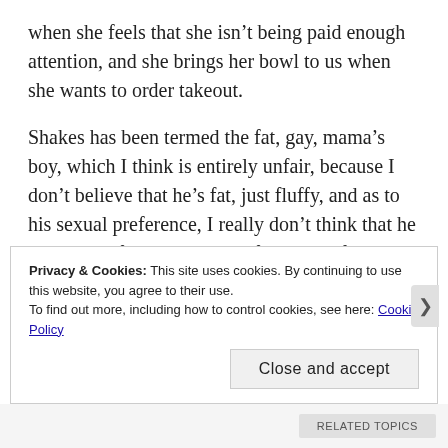when she feels that she isn’t being paid enough attention, and she brings her bowl to us when she wants to order takeout.
Shakes has been termed the fat, gay, mama’s boy, which I think is entirely unfair, because I don’t believe that he’s fat, just fluffy, and as to his sexual preference, I really don’t think that he has one. Alfie is everyone’s favorite at first because he’s so small and cute until he literally turns on the person giving him love. Personally, I think that Alfie is into S&M, and hasn’t found the right partner yet. Everyone
Privacy & Cookies: This site uses cookies. By continuing to use this website, you agree to their use.
To find out more, including how to control cookies, see here: Cookie Policy
Close and accept